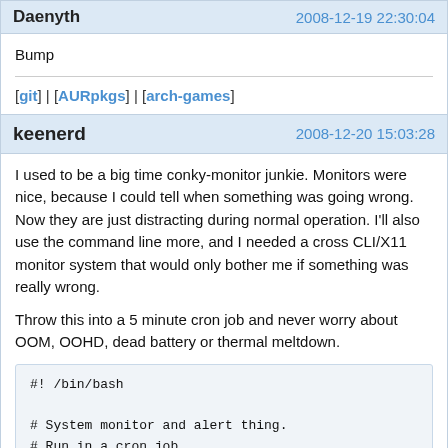Daenyth  2008-12-19 22:30:04
Bump
[git] | [AURpkgs] | [arch-games]
keenerd  2008-12-20 15:03:28
I used to be a big time conky-monitor junkie.  Monitors were nice, because I could tell when something was going wrong.  Now they are just distracting during normal operation.  I'll also use the command line more, and I needed a cross CLI/X11 monitor system that would only bother me if something was really wrong.
Throw this into a 5 minute cron job and never worry about OOM, OOHD, dead battery or thermal meltdown.
#! /bin/bash

# System monitor and alert thing.
# Run in a cron job.

# Checks the following: